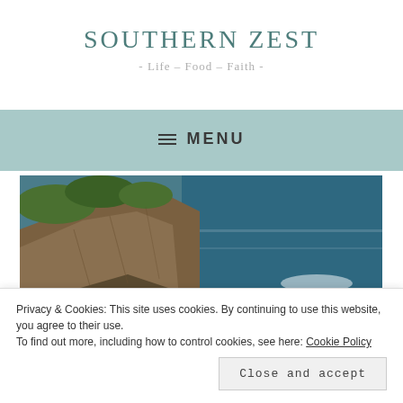SOUTHERN ZEST
- Life – Food – Faith -
≡ MENU
[Figure (photo): Coastal cliff with rocky shoreline and ocean waves crashing against rocks, with green vegetation on top of the cliffs]
Privacy & Cookies: This site uses cookies. By continuing to use this website, you agree to their use.
To find out more, including how to control cookies, see here: Cookie Policy
Close and accept